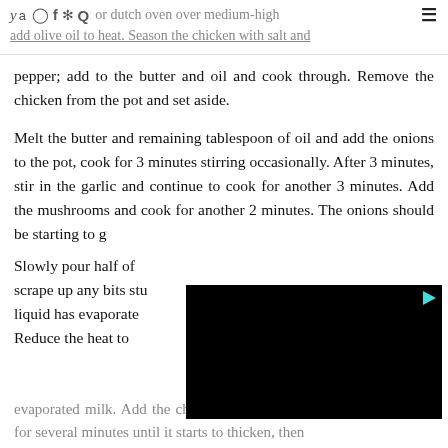or dutch oven over medium-high add olive oil to heat. Season the chicken with salt and
pepper; add to the butter and oil and cook through. Remove the chicken from the pot and set aside.
Melt the butter and remaining tablespoon of oil and add the onions to the pot, cook for 3 minutes stirring occasionally. After 3 minutes, stir in the garlic and continue to cook for another 3 minutes. Add the mushrooms and cook for another 2 minutes. The onions should be starting to g[obscured by video]
Slowly pour half of [obscured] scrape up any bits stu[obscured] liquid has evaporate[obscured] Reduce the heat to [obscured]
[Figure (screenshot): Black video player overlay covering right portion of page]
evaporated milk. Add the cheese stirring constantly. Cook the sauce for several minutes until it starts to thicken, then